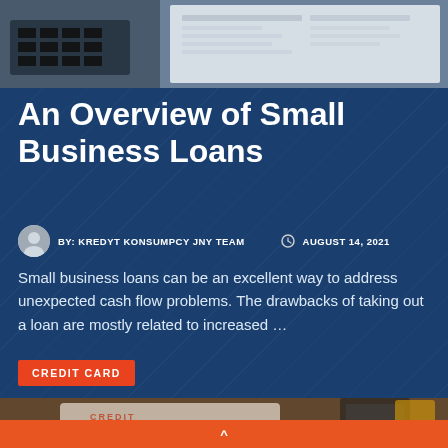[Figure (photo): Top section showing a calculator and financial documents on a desk, blurred background photo]
An Overview of Small Business Loans
BY: KREDYT KONSUMPCY JNY TEAM   AUGUST 14, 2021
Small business loans can be an excellent way to address unexpected cash flow problems. The drawbacks of taking out a loan are mostly related to increased ...
CREDIT CARD
[Figure (photo): Bottom photo showing hands handling a credit card document with calculator and cup in background]